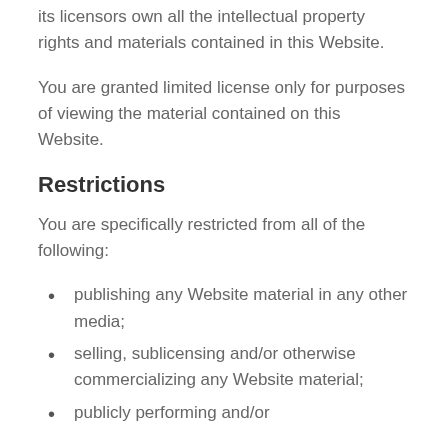its licensors own all the intellectual property rights and materials contained in this Website.
You are granted limited license only for purposes of viewing the material contained on this Website.
Restrictions
You are specifically restricted from all of the following:
publishing any Website material in any other media;
selling, sublicensing and/or otherwise commercializing any Website material;
publicly performing and/or